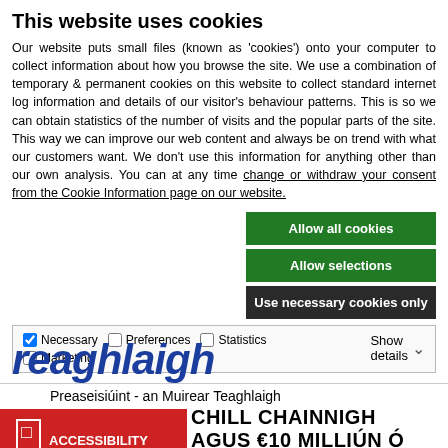This website uses cookies
Our website puts small files (known as 'cookies') onto your computer to collect information about how you browse the site. We use a combination of temporary & permanent cookies on this website to collect standard internet log information and details of our visitor's behaviour patterns. This is so we can obtain statistics of the number of visits and the popular parts of the site. This way we can improve our web content and always be on trend with what our customers want. We don't use this information for anything other than our own analysis. You can at any time change or withdraw your consent from the Cookie Information page on our website.
Allow all cookies
Allow selections
Use necessary cookies only
Necessary  Preferences  Statistics  Marketing  Show details
reaghlaigh
Preaseisiúint - an Muirear Teaghlaigh
CHILL CHAINNIGH AGUS €10 MILLIÚN Ó 109,569 TEAGHLACH Ó ÍOCAÍOCHT AN MHUIRIR THEAGHLAIGH